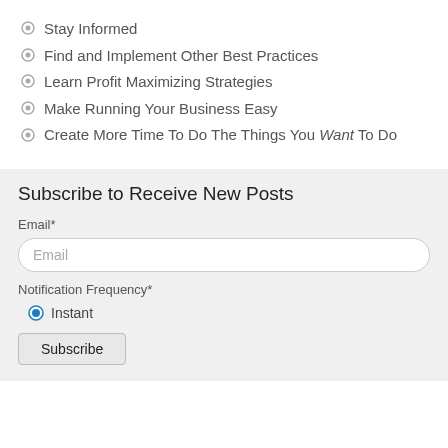Stay Informed
Find and Implement Other Best Practices
Learn Profit Maximizing Strategies
Make Running Your Business Easy
Create More Time To Do The Things You Want To Do
Subscribe to Receive New Posts
Email*
Email
Notification Frequency*
Instant
Subscribe